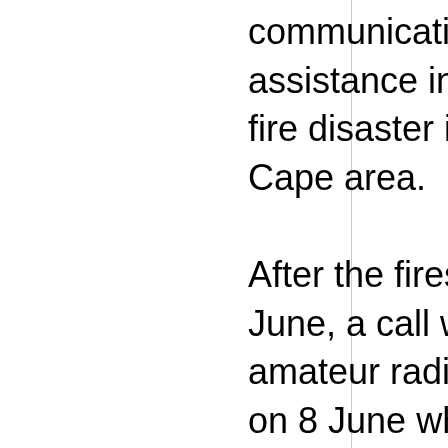communications assistance in the recent fire disaster in the Western Cape area.

After the fires began on 7 June, a call went out for amateur radio assistance on 8 June when cell phone, landline and Internet services